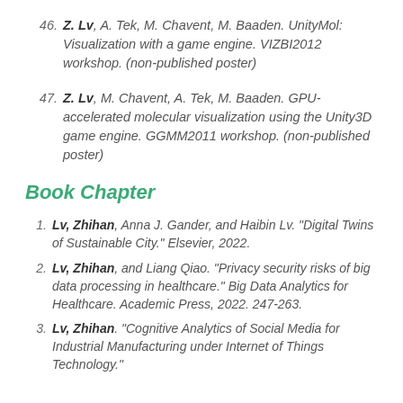46. Z. Lv, A. Tek, M. Chavent, M. Baaden. UnityMol: Visualization with a game engine. VIZBI2012 workshop. (non-published poster)
47. Z. Lv, M. Chavent, A. Tek, M. Baaden. GPU-accelerated molecular visualization using the Unity3D game engine. GGMM2011 workshop. (non-published poster)
Book Chapter
1. Lv, Zhihan, Anna J. Gander, and Haibin Lv. "Digital Twins of Sustainable City." Elsevier, 2022.
2. Lv, Zhihan, and Liang Qiao. "Privacy security risks of big data processing in healthcare." Big Data Analytics for Healthcare. Academic Press, 2022. 247-263.
3. Lv, Zhihan. "Cognitive Analytics of Social Media for Industrial Manufacturing under Internet of Things Technology." Research Trends...